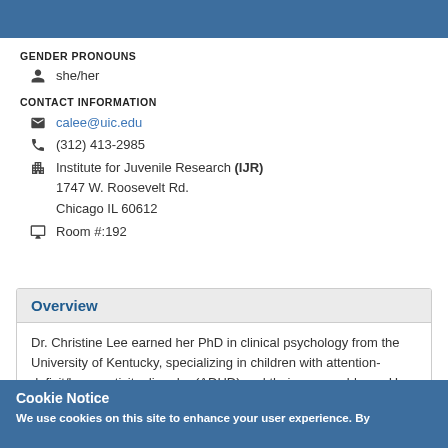GENDER PRONOUNS
she/her
CONTACT INFORMATION
calee@uic.edu
(312) 413-2985
Institute for Juvenile Research (IJR)
1747 W. Roosevelt Rd.
Chicago IL 60612
Room #:192
Overview
Dr. Christine Lee earned her PhD in clinical psychology from the University of Kentucky, specializing in children with attention-deficit/hyperactivity disorder (ADHD) and their peer problems. Her residency in pediatric psychology was
Cookie Notice
We use cookies on this site to enhance your user experience. By